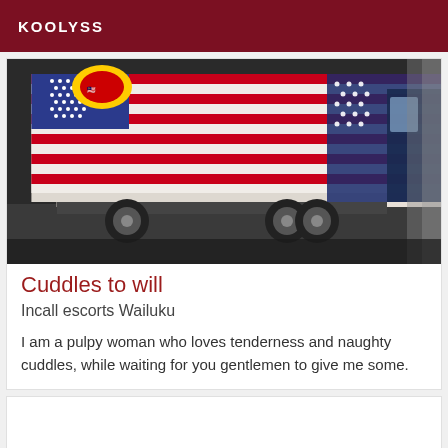KOOLYSS
[Figure (photo): A truck with an American flag graphic wrap on the side of the cargo box, viewed from the side-rear angle in a parking area.]
Cuddles to will
Incall escorts Wailuku
I am a pulpy woman who loves tenderness and naughty cuddles, while waiting for you gentlemen to give me some.